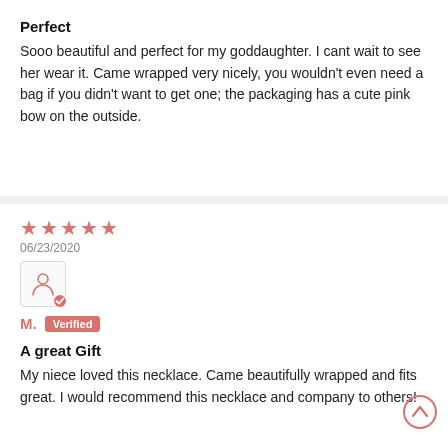Perfect
Sooo beautiful and perfect for my goddaughter. I cant wait to see her wear it. Came wrapped very nicely, you wouldn't even need a bag if you didn't want to get one; the packaging has a cute pink bow on the outside.
★★★★★
06/23/2020
M.  Verified
A great Gift
My niece loved this necklace. Came beautifully wrapped and fits great. I would recommend this necklace and company to others!